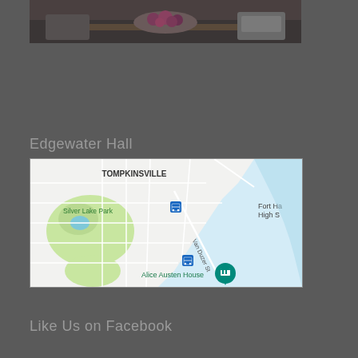[Figure (photo): Top photo showing an interior scene with flowers/fruit on a table, partially visible]
Edgewater Hall
[Figure (map): Google Maps view showing Tompkinsville area of Staten Island, NY, including Silver Lake Park, Van Duzer St, Alice Austen House, Fort Hamilton High School area, and waterfront]
Like Us on Facebook